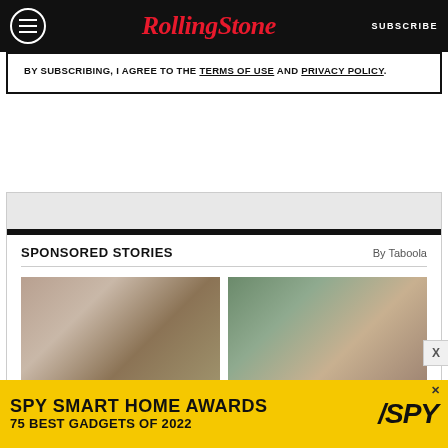Rolling Stone | SUBSCRIBE
BY SUBSCRIBING, I AGREE TO THE TERMS OF USE AND PRIVACY POLICY.
SPONSORED STORIES
By Taboola
[Figure (photo): Left: doctor in suit pointing at something medical. Right: person on a rooftop working on gutters.]
[Figure (infographic): SPY Smart Home Awards advertisement banner: SPY SMART HOME AWARDS / 75 BEST GADGETS OF 2022]